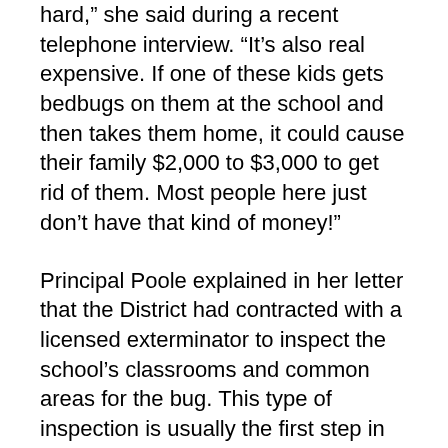hard," she said during a recent telephone interview. "It's also real expensive. If one of these kids gets bedbugs on them at the school and then takes them home, it could cause their family $2,000 to $3,000 to get rid of them. Most people here just don't have that kind of money!"
Principal Poole explained in her letter that the District had contracted with a licensed exterminator to inspect the school's classrooms and common areas for the bug. This type of inspection is usually the first step in fighting bedbugs. The school also removed pillows and other textile covered items that bedbugs prefer